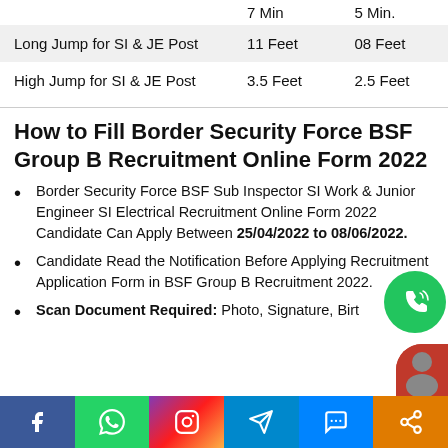|  | Male | Female |
| --- | --- | --- |
|  | 7 Min | 5 Min. |
| Long Jump for SI & JE Post | 11 Feet | 08 Feet |
| High Jump for SI & JE Post | 3.5 Feet | 2.5 Feet |
How to Fill Border Security Force BSF Group B Recruitment Online Form 2022
Border Security Force BSF Sub Inspector SI Work & Junior Engineer SI Electrical Recruitment Online Form 2022 Candidate Can Apply Between 25/04/2022 to 08/06/2022.
Candidate Read the Notification Before Applying Recruitment Application Form in BSF Group B Recruitment 2022.
Scan Document Required: Photo, Signature, Birt...